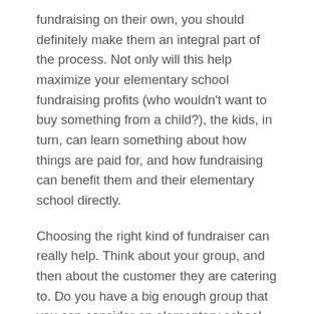fundraising on their own, you should definitely make them an integral part of the process. Not only will this help maximize your elementary school fundraising profits (who wouldn't want to buy something from a child?), the kids, in turn, can learn something about how things are paid for, and how fundraising can benefit them and their elementary school directly.
Choosing the right kind of fundraiser can really help. Think about your group, and then about the customer they are catering to. Do you have a big enough group that you can consider an elementary school fundraiser with high minimums? If so, you might do well with a catalog fundraiser. Our green fundraiser is very popular and can return great profits. If you have a smaller group, you may want to consider different kinds of elementary school